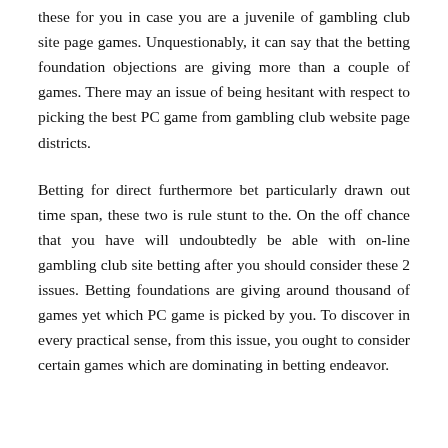these for you in case you are a juvenile of gambling club site page games. Unquestionably, it can say that the betting foundation objections are giving more than a couple of games. There may an issue of being hesitant with respect to picking the best PC game from gambling club website page districts.
Betting for direct furthermore bet particularly drawn out time span, these two is rule stunt to the. On the off chance that you have will undoubtedly be able with on-line gambling club site betting after you should consider these 2 issues. Betting foundations are giving around thousand of games yet which PC game is picked by you. To discover in every practical sense, from this issue, you ought to consider certain games which are dominating in betting endeavor.